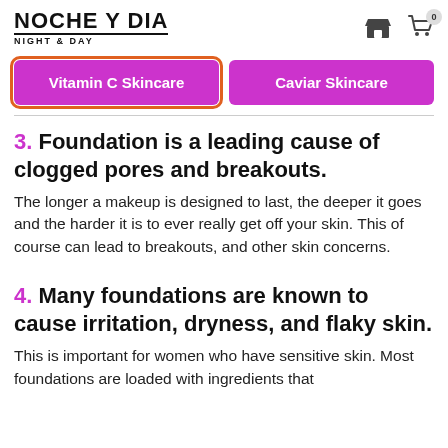NOCHE Y DIA NIGHT & DAY
Vitamin C Skincare
Caviar Skincare
3. Foundation is a leading cause of clogged pores and breakouts.
The longer a makeup is designed to last, the deeper it goes and the harder it is to ever really get off your skin. This of course can lead to breakouts, and other skin concerns.
4. Many foundations are known to cause irritation, dryness, and flaky skin.
This is important for women who have sensitive skin. Most foundations are loaded with ingredients that